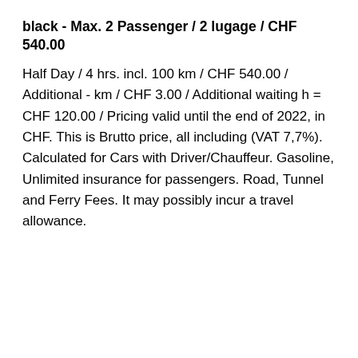black - Max. 2 Passenger / 2 lugage / CHF 540.00
Half Day / 4 hrs. incl. 100 km / CHF 540.00 / Additional - km / CHF 3.00 / Additional waiting h = CHF 120.00 / Pricing valid until the end of 2022, in CHF. This is Brutto price, all including (VAT 7,7%). Calculated for Cars with Driver/Chauffeur. Gasoline, Unlimited insurance for passengers. Road, Tunnel and Ferry Fees. It may possibly incur a travel allowance.